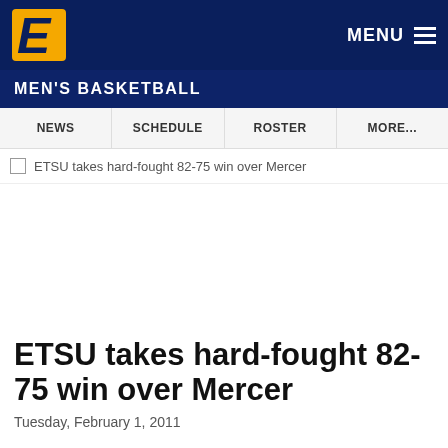MEN'S BASKETBALL
NEWS | SCHEDULE | ROSTER | MORE...
ETSU takes hard-fought 82-75 win over Mercer
ETSU takes hard-fought 82-75 win over Mercer
Tuesday, February 1, 2011